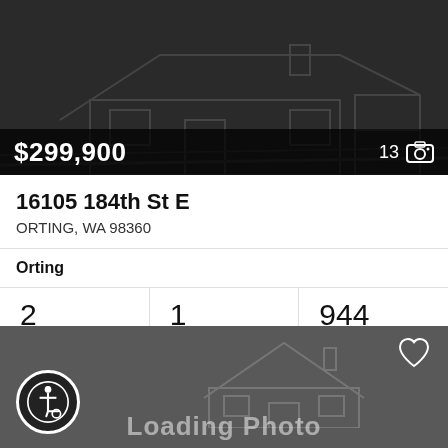[Figure (photo): Dark real estate listing card with house outline illustration. Price overlay shows $299,900 with photo count 13.]
$299,900
13
16105 184th St E
ORTING, WA 98360
Orting
2
Beds
1
Baths
944
Sq.Ft.
MLS® #: 1968400
[Figure (photo): Dark gray real estate listing card with house outline, heart/favorite icon top right, accessibility icon bottom left, and 'Loading Photo' text at bottom.]